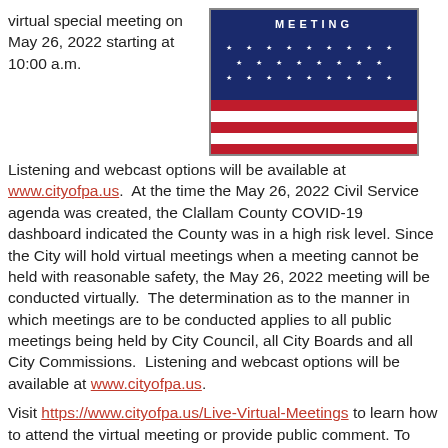virtual special meeting on May 26, 2022 starting at 10:00 a.m.
[Figure (photo): American flag photo with 'MEETING' text overlay, showing stars on blue field and red/white stripes]
Listening and webcast options will be available at www.cityofpa.us.  At the time the May 26, 2022 Civil Service agenda was created, the Clallam County COVID-19 dashboard indicated the County was in a high risk level. Since the City will hold virtual meetings when a meeting cannot be held with reasonable safety, the May 26, 2022 meeting will be conducted virtually.  The determination as to the manner in which meetings are to be conducted applies to all public meetings being held by City Council, all City Boards and all City Commissions.  Listening and webcast options will be available at www.cityofpa.us.
Visit https://www.cityofpa.us/Live-Virtual-Meetings to learn how to attend the virtual meeting or provide public comment. To view a copy of the agenda, visit: https://cityofpa.us/583/Meetings-Agendas